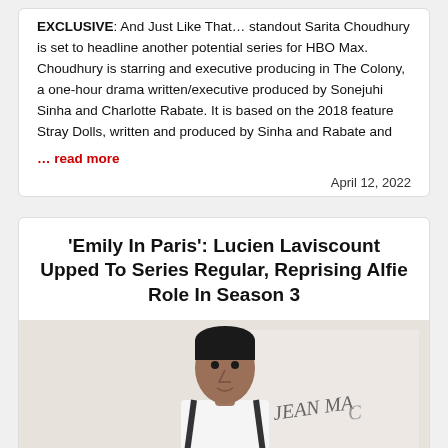EXCLUSIVE: And Just Like That… standout Sarita Choudhury is set to headline another potential series for HBO Max. Choudhury is starring and executive producing in The Colony, a one-hour drama written/executive produced by Sonejuhi Sinha and Charlotte Rabate. It is based on the 2018 feature Stray Dolls, written and produced by Sinha and Rabate and
... read more
April 12, 2022
'Emily In Paris': Lucien Laviscount Upped To Series Regular, Reprising Alfie Role In Season 3
[Figure (photo): Photo of a man in a white shirt with suspenders standing in front of a whiteboard with 'JEAN MAC' written on it]